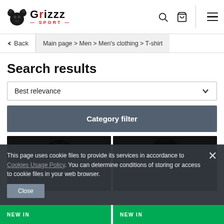Grizzz Sport — navigation header with search, cart, and menu icons
< Back | Main page > Men > Men's clothing > T-shirt
Search results
Best relevance
Category filter
[Figure (photo): Two black t-shirts/sportswear items displayed as product cards with NEW IN badges]
This page uses cookie files to provide its services in accordance to Cookies Usage Policy. You can determine conditions of storing or access to cookie files in your web browser.
Close